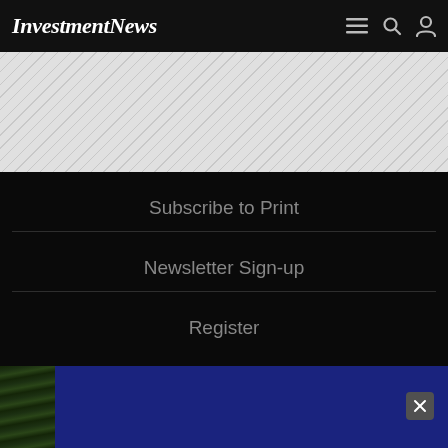InvestmentNews
[Figure (other): Diagonal striped gray banner/advertisement placeholder area]
Subscribe to Print
Newsletter Sign-up
Register
About
[Figure (photo): Partial blue background with trees image at the bottom, with a close/X button]